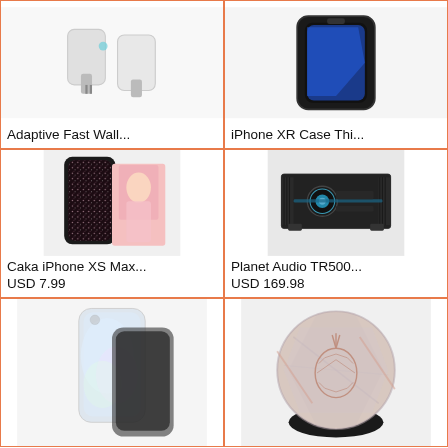[Figure (photo): Adaptive Fast Wall charger product photo - white plug adapters]
Adaptive Fast Wall...
[Figure (photo): iPhone XR Case Thi... product photo - black rugged phone case]
iPhone XR Case Thi...
[Figure (photo): Caka iPhone XS Max glitter case - black and pink sparkle case with woman holding phone]
Caka iPhone XS Max...
USD 7.99
[Figure (photo): Planet Audio TR500... car amplifier - black rectangular amplifier with blue accent]
Planet Audio TR500...
USD 169.98
[Figure (photo): Iridescent opalescent phone case for iPhone XR]
[Figure (photo): PopSocket with marble and pineapple design on black base]